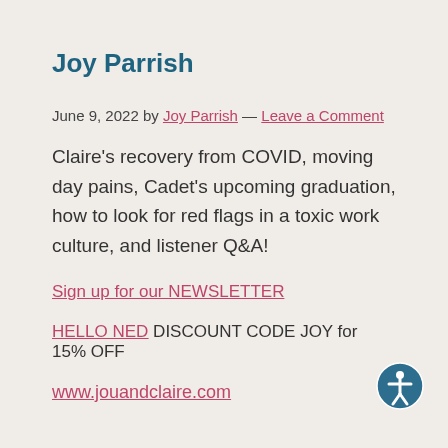Joy Parrish
June 9, 2022 by Joy Parrish — Leave a Comment
Claire's recovery from COVID, moving day pains, Cadet's upcoming graduation, how to look for red flags in a toxic work culture, and listener Q&A!
Sign up for our NEWSLETTER
HELLO NED DISCOUNT CODE JOY for 15% OFF
www.jouandclaire.com